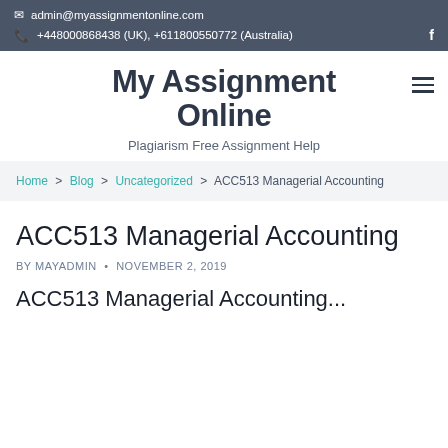admin@myassignmentonline.com | +448000868438 (UK), +611800550772 (Australia)
My Assignment Online
Plagiarism Free Assignment Help
Home > Blog > Uncategorized > ACC513 Managerial Accounting
ACC513 Managerial Accounting
BY MAYADMIN • NOVEMBER 2, 2019
ACC513 Managerial Accounting...